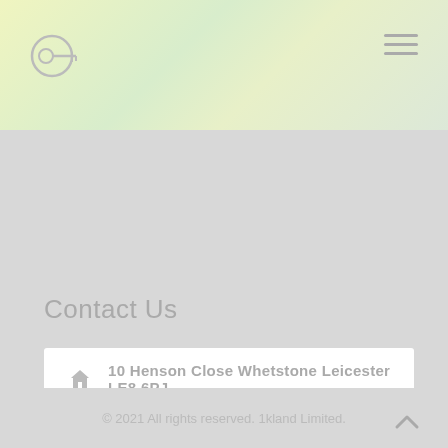1kland logo and navigation header
Contact Us
10 Henson Close Whetstone Leicester LE8 6PJ
647 Melton Road Leicester LE4 8EB
info@1kland.co.uk
0116 482 4560
© 2021 All rights reserved. 1kland Limited.